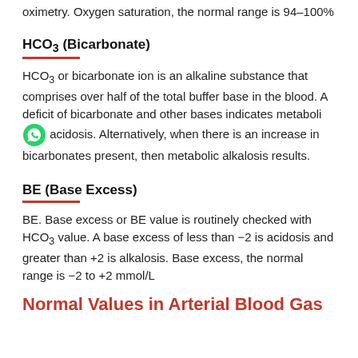oximetry. Oxygen saturation, the normal range is 94–100%
HCO3 (Bicarbonate)
HCO3 or bicarbonate ion is an alkaline substance that comprises over half of the total buffer base in the blood. A deficit of bicarbonate and other bases indicates metabolic acidosis. Alternatively, when there is an increase in bicarbonates present, then metabolic alkalosis results.
BE (Base Excess)
BE. Base excess or BE value is routinely checked with HCO3 value. A base excess of less than −2 is acidosis and greater than +2 is alkalosis. Base excess, the normal range is −2 to +2 mmol/L
Normal Values in Arterial Blood Gas